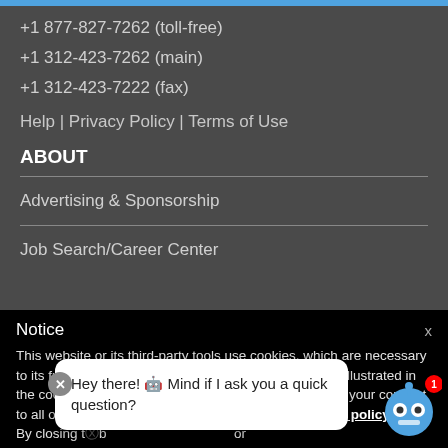+1 877-827-7262 (toll-free)
+1 312-423-7262 (main)
+1 312-423-7222 (fax)
Help | Privacy Policy | Terms of Use
ABOUT
Advertising & Sponsorship
Job Search/Career Center
Notice
This website or its third-party tools use cookies, which are necessary to its functioning and required to achieve the purposes illustrated in the cookie policy. If you want to know more or withdraw your consent to all or some of the cookies, please refer to the cookie policy.
By closing t[...]b[...] or continuing to bro[...]co[...]
Hey there! 🤖 Mind if I ask you a quick question?